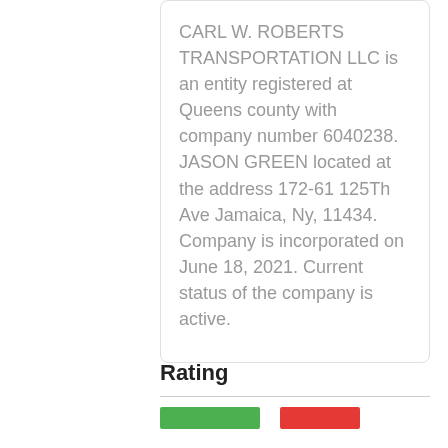CARL W. ROBERTS TRANSPORTATION LLC is an entity registered at Queens county with company number 6040238. JASON GREEN located at the address 172-61 125Th Ave Jamaica, Ny, 11434. Company is incorporated on June 18, 2021. Current status of the company is active.
Rating
[Figure (other): Two colored rating bars — one green and one red]